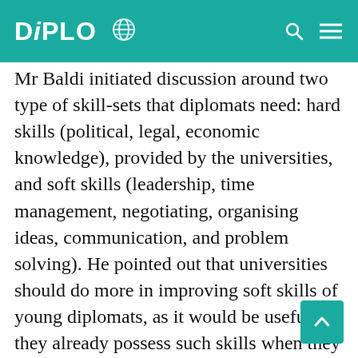DiPLO
Mr Baldi initiated discussion around two type of skill-sets that diplomats need: hard skills (political, legal, economic knowledge), provided by the universities, and soft skills (leadership, time management, negotiating, organising ideas, communication, and problem solving). He pointed out that universities should do more in improving soft skills of young diplomats, as it would be useful if they already possess such skills when they come to the job. The main challenge for many universities is to complement their core function of imparting substantive knowledge with teaching soft skills.